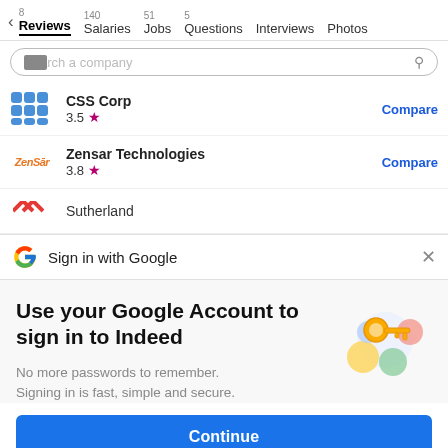8 Reviews  140 Salaries  51 Jobs  5 Questions  Interviews  Photos
Search a company
CSS Corp 3.5 ★ Compare
Zensar Technologies 3.8 ★ Compare
Sutherland
Sign in with Google
Use your Google Account to sign in to Indeed
No more passwords to remember. Signing in is fast, simple and secure.
[Figure (illustration): Colorful illustration of a key with abstract circles representing Google account security]
Continue